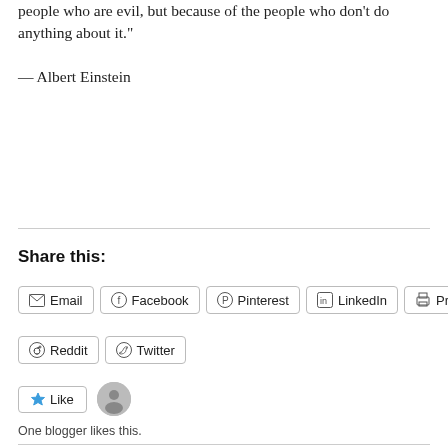people who are evil, but because of the people who don't do anything about it."
— Albert Einstein
Share this:
Email  Facebook  Pinterest  LinkedIn  Print  Reddit  Twitter
Like  One blogger likes this.